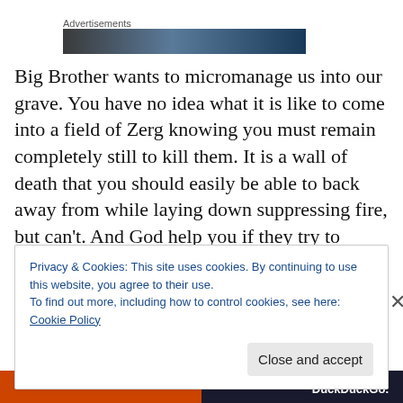[Figure (other): Advertisement label with a dark gradient banner image below it]
Big Brother wants to micromanage us into our grave. You have no idea what it is like to come into a field of Zerg knowing you must remain completely still to kill them. It is a wall of death that you should easily be able to back away from while laying down suppressing fire, but can't. And God help you if they try to flank.
Privacy & Cookies: This site uses cookies. By continuing to use this website, you agree to their use.
To find out more, including how to control cookies, see here: Cookie Policy
Close and accept